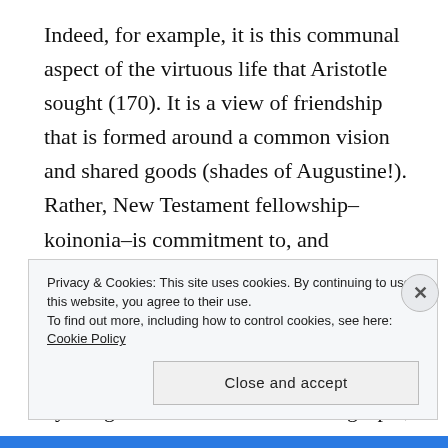Indeed, for example, it is this communal aspect of the virtuous life that Aristotle sought (170). It is a view of friendship that is formed around a common vision and shared goods (shades of Augustine!). Rather, New Testament fellowship–koinonia–is commitment to, and participation in, advancing the Kingdom from the body of Christ. What relevance, then, to the life of the mind? New Testament fellowship should be guided by the good life as revealed in the gospel, which includes a life of epistemic virtue. We are to build each other up in
Privacy & Cookies: This site uses cookies. By continuing to use this website, you agree to their use.
To find out more, including how to control cookies, see here: Cookie Policy
Close and accept